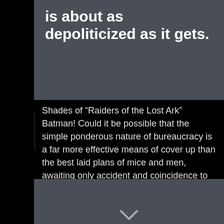is about as depoliticized as it gets.
[Figure (other): Font size increase button (A with up caret) in yellow square]
[Figure (other): Font size decrease button (A with down caret) in black square]
Shades of “Raiders of the Lost Ark” Batman! Could it be possible that the simple ponderous nature of bureaucracy is a far more effective means of cover up than the best laid plans of mice and men, awaiting only accident and coincidence to reveal the truth?
[Figure (other): Gray box with quotation mark icon at top left and chevron/caret icon at bottom center]